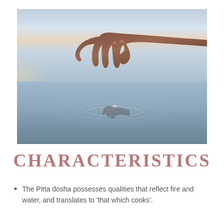[Figure (photo): A hand with painted fingernails touching a calm water surface, creating ripples, photographed against a serene sky at dusk. The image shows the reflection of the hand in the still water below.]
CHARACTERISTICS
The Pitta dosha possesses qualities that reflect fire and water, and translates to 'that which cooks'.